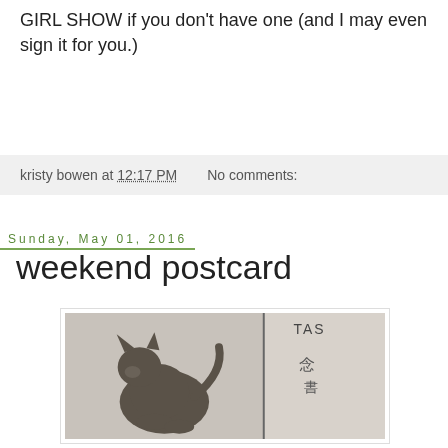GIRL SHOW if you don't have one (and I may even sign it for you.)
kristy bowen at 12:17 PM   No comments:
Sunday, May 01, 2016
weekend postcard
[Figure (photo): Black and white vintage postcard image showing a cat figure, with text 'TAS' visible at the top and Chinese characters in the middle, with a vertical line/divider on the right side.]